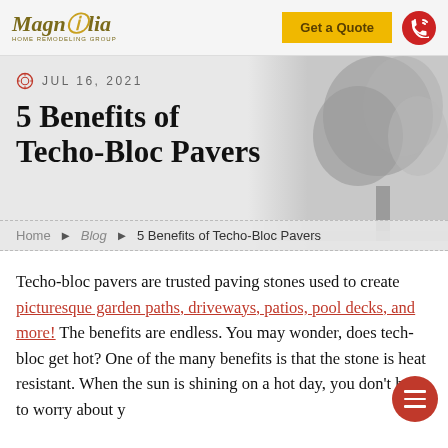Magnolia Home Remodeling Group — Get a Quote
JUL 16, 2021
5 Benefits of Techo-Bloc Pavers
Home ▶ Blog ▶ 5 Benefits of Techo-Bloc Pavers
Techo-bloc pavers are trusted paving stones used to create picturesque garden paths, driveways, patios, pool decks, and more! The benefits are endless. You may wonder, does tech-bloc get hot? One of the many benefits is that the stone is heat resistant. When the sun is shining on a hot day, you don't have to worry about y…